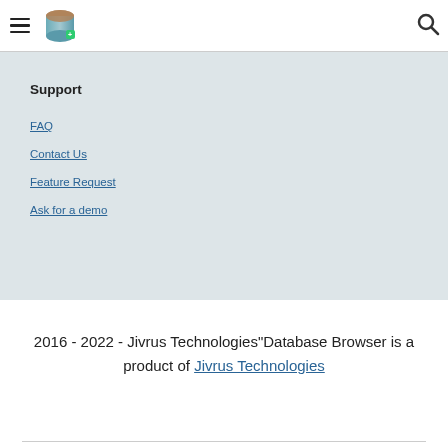hamburger menu | logo | search
Support
FAQ
Contact Us
Feature Request
Ask for a demo
2016 - 2022  - Jivrus Technologies"Database Browser is a product of Jivrus Technologies